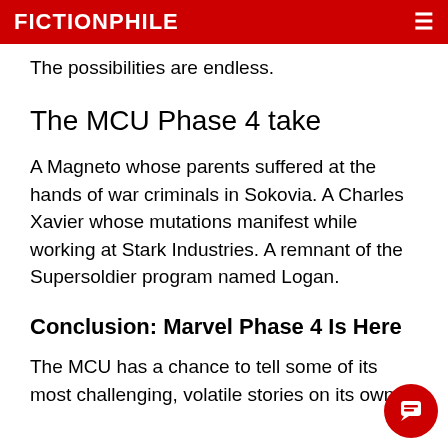FICTIONPHILE
The possibilities are endless.
The MCU Phase 4 take
A Magneto whose parents suffered at the hands of war criminals in Sokovia. A Charles Xavier whose mutations manifest while working at Stark Industries. A remnant of the Supersoldier program named Logan.
Conclusion: Marvel Phase 4 Is Here
The MCU has a chance to tell some of its most challenging, volatile stories on its own